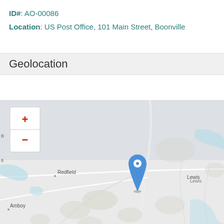ID#: AO-00086
Location: US Post Office, 101 Main Street, Boonville
Geolocation
[Figure (map): OpenStreetMap tile showing the Boonville area with towns Redfield, Lewis, and Amboy visible. A blue location pin marker is placed near the center of the map indicating the US Post Office location. Zoom controls (+/-) are visible in the upper left of the map.]